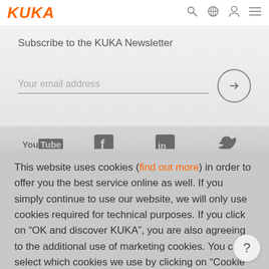[Figure (logo): KUKA logo in orange italic bold text]
Subscribe to the KUKA Newsletter
Your email address
[Figure (infographic): Social media icons: YouTube, Facebook, LinkedIn, Twitter]
This website uses cookies (find out more) in order to offer you the best service online as well. If you simply continue to use our website, we will only use cookies required for technical purposes. If you click on “OK and discover KUKA”, you are also agreeing to the additional use of marketing cookies. You can select which cookies we use by clicking on “Cookie settings”.